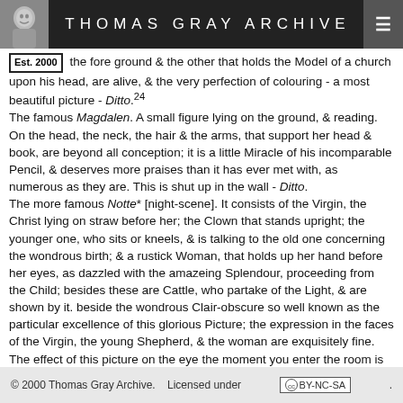THOMAS GRAY ARCHIVE
the fore ground & the other that holds the Model of a church upon his head, are alive, & the very perfection of colouring - a most beautiful picture - Ditto.24 The famous Magdalen. A small figure lying on the ground, & reading. On the head, the neck, the hair & the arms, that support her head & book, are beyond all conception; it is a little Miracle of his incomparable Pencil, & deserves more praises than it has ever met with, as numerous as they are. This is shut up in the wall - Ditto. The more famous Notte* [night-scene]. It consists of the Virgin, the Christ lying on straw before her; the Clown that stands upright; the younger one, who sits or kneels, & is talking to the old one concerning the wondrous birth; & a rustick Woman, that holds up her hand before her eyes, as dazzled with the amazeing Splendour, proceeding from the Child; besides these are Cattle, who partake of the Light, & are shown by it. beside the wondrous Clair-obscure so well known as the particular excellence of this glorious Picture; the expression in the faces of the Virgin, the young Shepherd, & the woman are exquisitely fine. The effect of this picture on the eye the moment you enter the room is surprizeing. The figures are less than life - Ditto.25 There are several Portraits of Titian & Vandyke &c.
The Beauty of the Country rather increases, than diminishes, as you go from hence to Bologna; but it is a beauty all of the same nature. That City does not at all strike the eye upon entering it,
© 2000 Thomas Gray Archive. Licensed under CC BY-NC-SA.